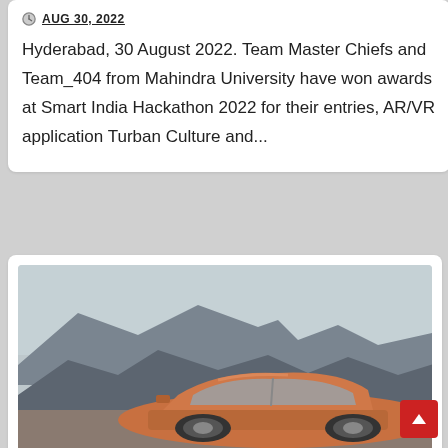AUG 30, 2022
Hyderabad, 30 August 2022. Team Master Chiefs and Team_404 from Mahindra University have won awards at Smart India Hackathon 2022 for their entries, AR/VR application Turban Culture and...
[Figure (photo): Orange/copper colored car photographed against a mountain landscape with grey peaks and blue-grey sky]